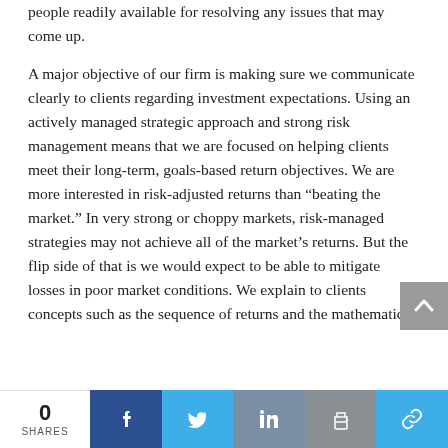people readily available for resolving any issues that may come up.
A major objective of our firm is making sure we communicate clearly to clients regarding investment expectations. Using an actively managed strategic approach and strong risk management means that we are focused on helping clients meet their long-term, goals-based return objectives. We are more interested in risk-adjusted returns than “beating the market.” In very strong or choppy markets, risk-managed strategies may not achieve all of the market’s returns. But the flip side of that is we would expect to be able to mitigate losses in poor market conditions. We explain to clients concepts such as the sequence of returns and the mathematics
0 SHARES | Facebook | Twitter | LinkedIn | Print | Link